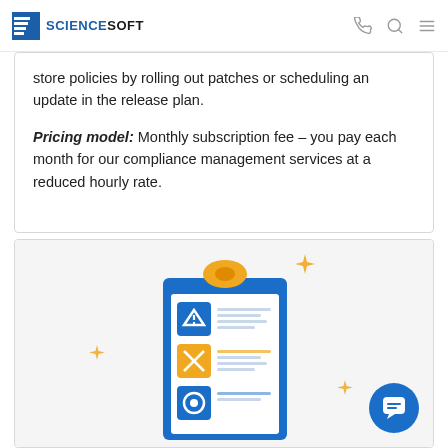ScienceSoft
store policies by rolling out patches or scheduling an update in the release plan.
Pricing model: Monthly subscription fee – you pay each month for our compliance management services at a reduced hourly rate.
[Figure (illustration): Illustration of a clipboard with checklist items including a warning/alert icon, a tools/wrench icon, and a circular icon, decorated with gold sparkle stars. A chat bubble icon is in the bottom right corner.]